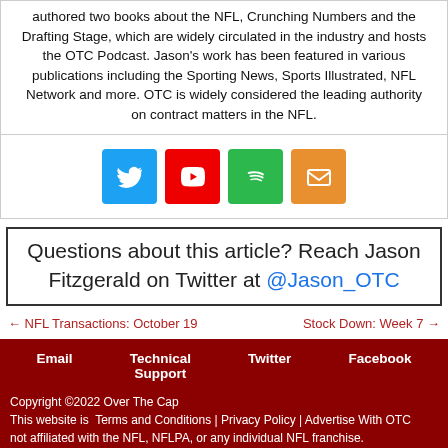authored two books about the NFL, Crunching Numbers and the Drafting Stage, which are widely circulated in the industry and hosts the OTC Podcast. Jason's work has been featured in various publications including the Sporting News, Sports Illustrated, NFL Network and more. OTC is widely considered the leading authority on contract matters in the NFL.
[Figure (infographic): Four social media icons in a row: Twitter (blue), YouTube (red), Spotify (green), Email (orange)]
Questions about this article? Reach Jason Fitzgerald on Twitter at @Jason_OTC
← NFL Transactions: October 19
Stock Down: Week 7 →
Email | Technical Support | Twitter | Facebook
Copyright ©2022 Over The Cap
This website is not affiliated with the NFL, NFLPA, or any individual NFL franchise.
Terms and Conditions | Privacy Policy | Advertise With OTC